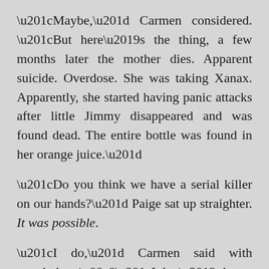“Maybe,” Carmen considered. “But here’s the thing, a few months later the mother dies. Apparent suicide. Overdose. She was taking Xanax. Apparently, she started having panic attacks after little Jimmy disappeared and was found dead. The entire bottle was found in her orange juice.”
“Do you think we have a serial killer on our hands?” Paige sat up straighter. It was possible.
“I do,” Carmen said with conviction. “I don’t know if you could ever prove it, but with the information I’ve gathered so far, I think little Loren got into some kind of argument with Jimmy Hovey and drowned